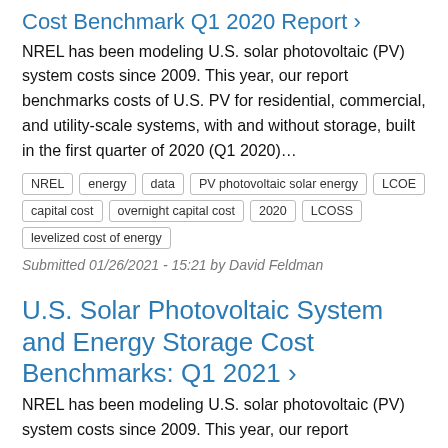Cost Benchmark Q1 2020 Report ›
NREL has been modeling U.S. solar photovoltaic (PV) system costs since 2009. This year, our report benchmarks costs of U.S. PV for residential, commercial, and utility-scale systems, with and without storage, built in the first quarter of 2020 (Q1 2020)…
NREL
energy
data
PV photovoltaic solar energy
LCOE
capital cost
overnight capital cost
2020
LCOSS
levelized cost of energy
Submitted 01/26/2021 - 15:21 by David Feldman
U.S. Solar Photovoltaic System and Energy Storage Cost Benchmarks: Q1 2021 ›
NREL has been modeling U.S. solar photovoltaic (PV) system costs since 2009. This year, our report benchmarks costs of U.S. PV for residential, commercial, and utility-